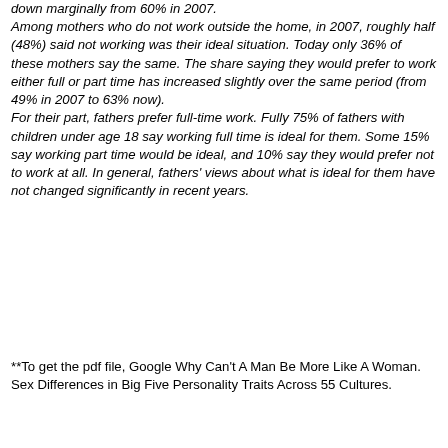down marginally from 60% in 2007. Among mothers who do not work outside the home, in 2007, roughly half (48%) said not working was their ideal situation. Today only 36% of these mothers say the same. The share saying they would prefer to work either full or part time has increased slightly over the same period (from 49% in 2007 to 63% now). For their part, fathers prefer full-time work. Fully 75% of fathers with children under age 18 say working full time is ideal for them. Some 15% say working part time would be ideal, and 10% say they would prefer not to work at all. In general, fathers' views about what is ideal for them have not changed significantly in recent years.
**To get the pdf file, Google Why Can't A Man Be More Like A Woman. Sex Differences in Big Five Personality Traits Across 55 Cultures.